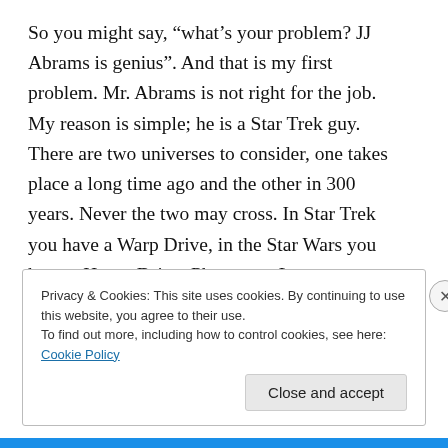So you might say, “what’s your problem? JJ Abrams is genius”. And that is my first problem. Mr. Abrams is not right for the job. My reason is simple; he is a Star Trek guy. There are two universes to consider, one takes place a long time ago and the other in 300 years. Never the two may cross. In Star Trek you have a Warp Drive, in the Star Wars you have a Hyper Drive. Phazers vs Lazers, Deflectors vs Shields, and all the other differences can be argued by geeks till blue in the face but one thing is certain, the look and feel of these sci-fi worlds are vastly
Privacy & Cookies: This site uses cookies. By continuing to use this website, you agree to their use.
To find out more, including how to control cookies, see here: Cookie Policy
Close and accept